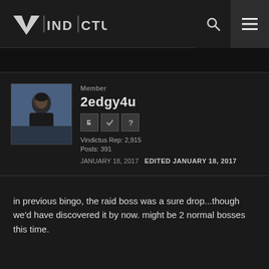Vindictus
Member
2edgy4u
Vindictus Rep: 2,915
Posts: 391
JANUARY 18, 2017  EDITED JANUARY 18, 2017
in previous bingo, the raid boss was a sure drop...though we'd have discovered it by now. might be 2 normal bosses this time.